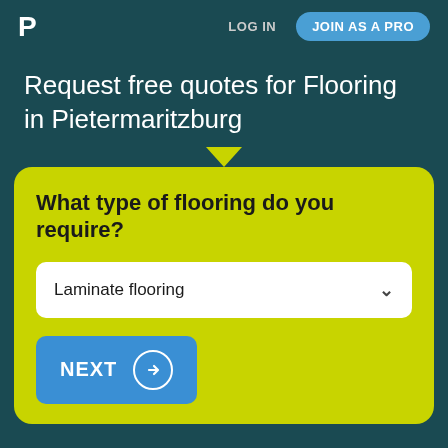P  LOG IN  JOIN AS A PRO
Request free quotes for Flooring in Pietermaritzburg
What type of flooring do you require?
Laminate flooring
NEXT